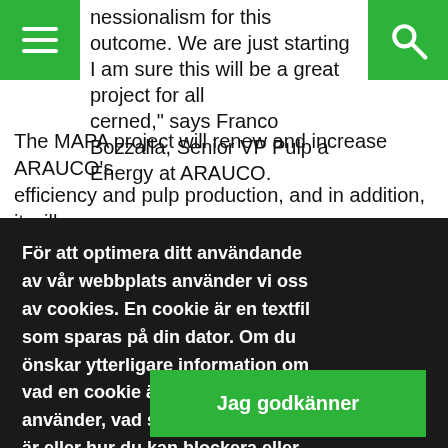nessionalism for this outcome. We are just starting I am sure this will be a great project for all cerned," says Franco Bozzalla, Senior VP Pulp a... Energy at ARAUCO.
The MAPA project will renew and increase ARAUCO's efficiency and pulp production, and in addition, it will
För att optimera ditt användande av vår webbplats använder vi oss av cookies. En cookie är en textfil som sparas på din dator. Om du önskar ytterligare information om vad en cookie är, vilka cookies vi använder, vad syftet med cookien är eller hur du kan blockera eller radera cookies, vänligen läs Om cookies.
Jag godkänner